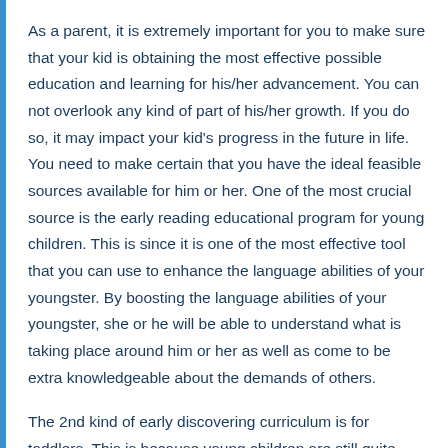As a parent, it is extremely important for you to make sure that your kid is obtaining the most effective possible education and learning for his/her advancement. You can not overlook any kind of part of his/her growth. If you do so, it may impact your kid's progress in the future in life. You need to make certain that you have the ideal feasible sources available for him or her. One of the most crucial source is the early reading educational program for young children. This is since it is one of the most effective tool that you can use to enhance the language abilities of your youngster. By boosting the language abilities of your youngster, she or he will be able to understand what is taking place around him or her as well as come to be extra knowledgeable about the demands of others.
The 2nd kind of early discovering curriculum is for toddlers. This is because young children are still quite creating their speech and body movement. For this reason, you must ensure that they get the proper early learning curriculum. One of the most crucial point...